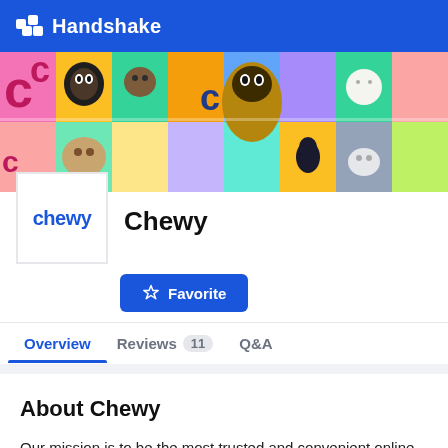Handshake
[Figure (photo): Collage of colorful painted pet portraits and photos of dogs and cats, used as a banner image for Chewy's Handshake profile]
[Figure (logo): Chewy logo — blue wordmark reading 'chewy' on white background]
Chewy
Favorite
Overview | Reviews 11 | Q&A
About Chewy
Our mission is to be the most trusted and convenient online destination for pet parents (and partners) everywhere. We believe that we are the preeminent online